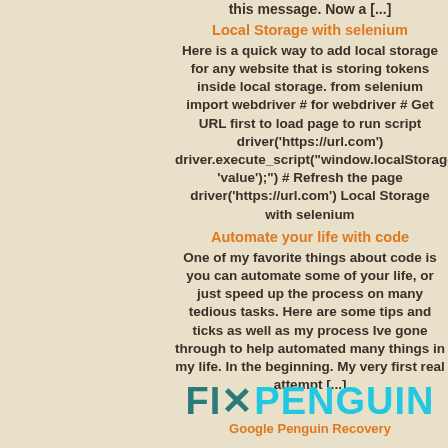this message. Now a [...]
Local Storage with selenium
Here is a quick way to add local storage for any website that is storing tokens inside local storage. from selenium import webdriver # for webdriver # Get URL first to load page to run script driver('https://url.com') driver.execute_script("window.localStorage.set 'value');") # Refresh the page driver('https://url.com') Local Storage with selenium
Automate your life with code
One of my favorite things about code is you can automate some of your life, or just speed up the process on many tedious tasks. Here are some tips and ticks as well as my process Ive gone through to help automated many things in my life. In the beginning. My very first real attempt [...]
[Figure (logo): FIXPENGUIN logo with tagline Google Penguin Recovery]